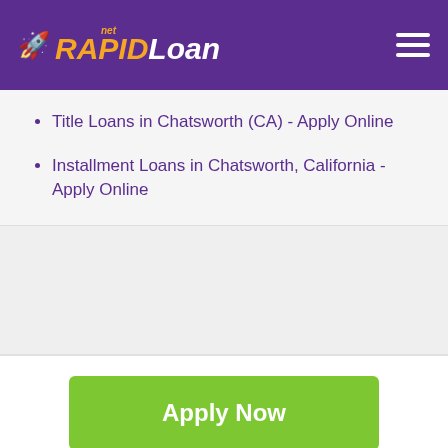RAPID Loan .net
Title Loans in Chatsworth (CA) - Apply Online
Installment Loans in Chatsworth, California - Apply Online
Apply Now
Applying does NOT affect your credit score! No credit check to apply.